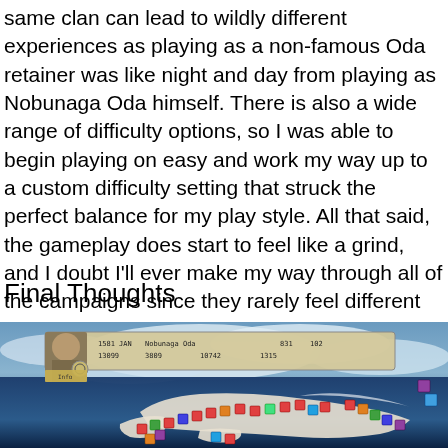same clan can lead to wildly different experiences as playing as a non-famous Oda retainer was like night and day from playing as Nobunaga Oda himself. There is also a wide range of difficulty options, so I was able to begin playing on easy and work my way up to a custom difficulty setting that struck the perfect balance for my play style. All that said, the gameplay does start to feel like a grind, and I doubt I'll ever make my way through all of the campaigns since they rarely feel different enough.
Final Thoughts
[Figure (screenshot): Screenshot of a strategy game showing a map of Japan with clan icons and a HUD showing Nobunaga Oda's stats: 1581 JAN, gold 13099, troops 3809, 10742, 1315, 831, 102]